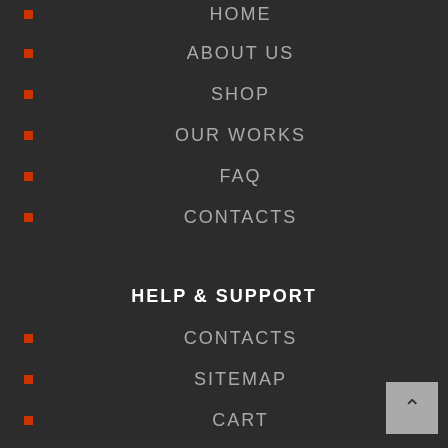HOME
ABOUT US
SHOP
OUR WORKS
FAQ
CONTACTS
HELP & SUPPORT
CONTACTS
SITEMAP
CART